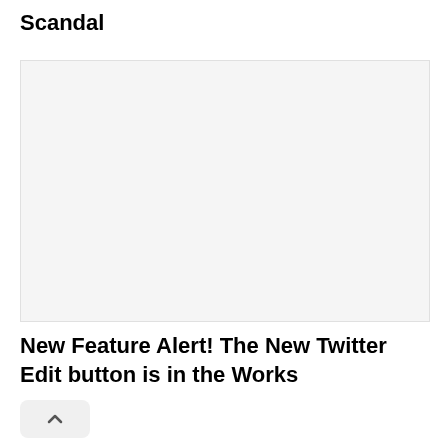Scandal
[Figure (other): Empty light gray image placeholder box]
New Feature Alert! The New Twitter Edit button is in the Works